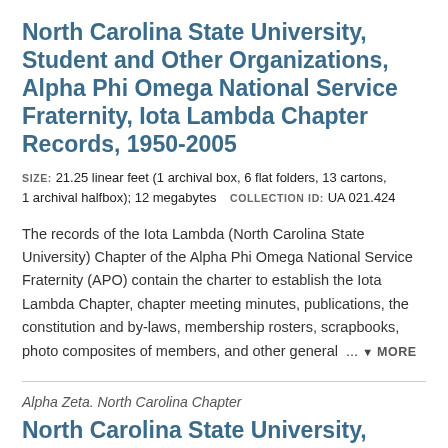North Carolina State University, Student and Other Organizations, Alpha Phi Omega National Service Fraternity, Iota Lambda Chapter Records, 1950-2005
SIZE: 21.25 linear feet (1 archival box, 6 flat folders, 13 cartons, 1 archival halfbox); 12 megabytes   COLLECTION ID: UA 021.424
The records of the Iota Lambda (North Carolina State University) Chapter of the Alpha Phi Omega National Service Fraternity (APO) contain the charter to establish the Iota Lambda Chapter, chapter meeting minutes, publications, the constitution and by-laws, membership rosters, scrapbooks, photo composites of members, and other general ... MORE
Alpha Zeta. North Carolina Chapter
North Carolina State University, Student